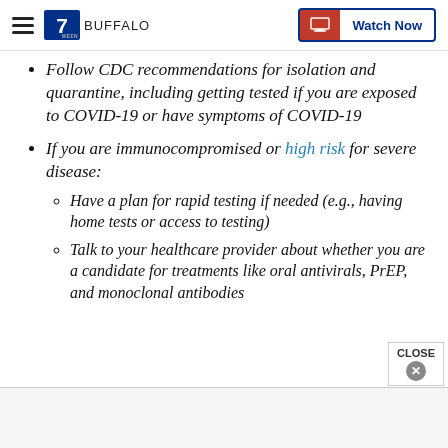7 BUFFALO — Watch Now
Follow CDC recommendations for isolation and quarantine, including getting tested if you are exposed to COVID-19 or have symptoms of COVID-19
If you are immunocompromised or high risk for severe disease:
Have a plan for rapid testing if needed (e.g., having home tests or access to testing)
Talk to your healthcare provider about whether you are a candidate for treatments like oral antivirals, PrEP, and monoclonal antibodies